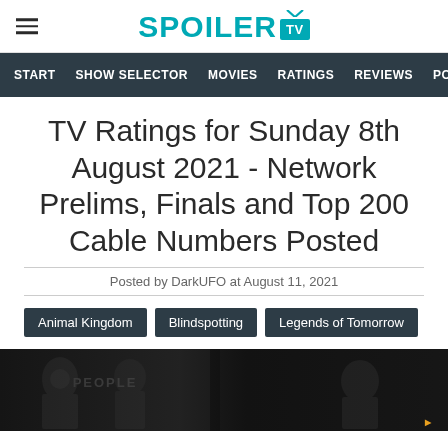SPOILER TV
START  SHOW SELECTOR  MOVIES  RATINGS  REVIEWS  POL
TV Ratings for Sunday 8th August 2021 - Network Prelims, Finals and Top 200 Cable Numbers Posted
Posted by DarkUFO at August 11, 2021
Animal Kingdom  Blindspotting  Legends of Tomorrow  P
[Figure (photo): Dark promotional image collage of TV show scenes]